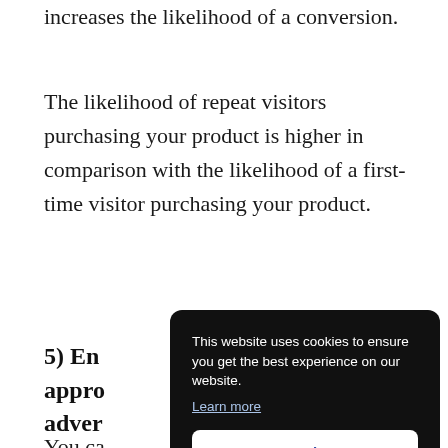increases the likelihood of a conversion.
The likelihood of repeat visitors purchasing your product is higher in comparison with the likelihood of a first-time visitor purchasing your product.
5) En... appro... adver...
You ca...
[Figure (screenshot): Cookie consent popup overlay with dark background. Text reads: 'This website uses cookies to ensure you get the best experience on our website. Learn more' with a 'Got it!' button.]